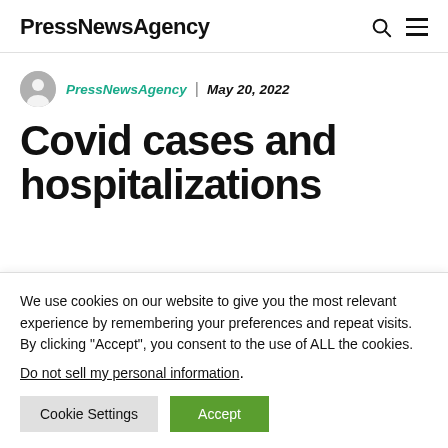PressNewsAgency
PressNewsAgency | May 20, 2022
Covid cases and hospitalizations
We use cookies on our website to give you the most relevant experience by remembering your preferences and repeat visits. By clicking "Accept", you consent to the use of ALL the cookies. Do not sell my personal information.